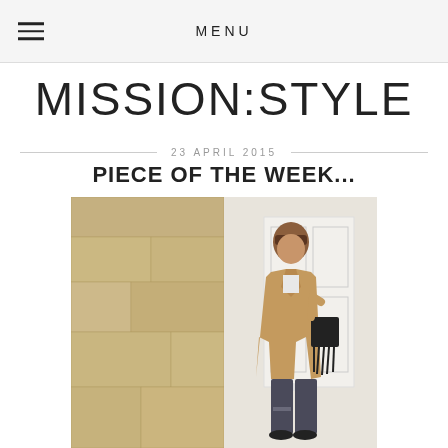MENU
MISSION:STYLE
23 APRIL 2015
PIECE OF THE WEEK...
[Figure (photo): A woman wearing a camel trench coat, white t-shirt, dark distressed jeans, and black lace-up flats, carrying a black fringe bag, standing against a stone wall and white door.]